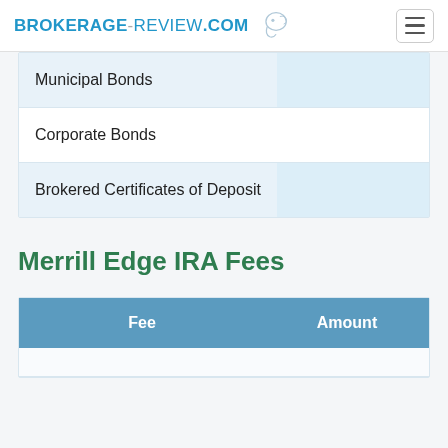BROKERAGE-REVIEW.COM
|  |  |
| --- | --- |
| Municipal Bonds |  |
| Corporate Bonds |  |
| Brokered Certificates of Deposit |  |
Merrill Edge IRA Fees
| Fee | Amount |
| --- | --- |